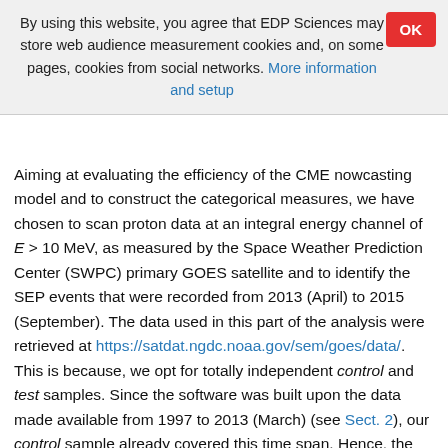By using this website, you agree that EDP Sciences may store web audience measurement cookies and, on some pages, cookies from social networks. More information and setup
Aiming at evaluating the efficiency of the CME nowcasting model and to construct the categorical measures, we have chosen to scan proton data at an integral energy channel of E > 10 MeV, as measured by the Space Weather Prediction Center (SWPC) primary GOES satellite and to identify the SEP events that were recorded from 2013 (April) to 2015 (September). The data used in this part of the analysis were retrieved at https://satdat.ngdc.noaa.gov/sem/goes/data/. This is because, we opt for totally independent control and test samples. Since the software was built upon the data made available from 1997 to 2013 (March) (see Sect. 2), our control sample already covered this time span. Hence, the extension to a time period that was not covered by our control sample was mandatory. As a result of the scanning, 43 SEP events